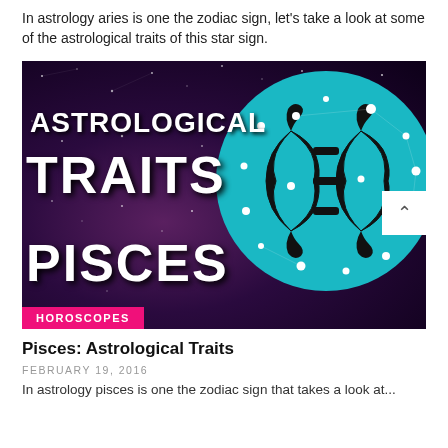In astrology aries is one the zodiac sign, let's take a look at some of the astrological traits of this star sign.
[Figure (illustration): Promotional image for 'Astrological Traits Pisces' article. Dark purple starry space background on the left with bold white text reading 'ASTROLOGICAL TRAITS' on top and 'PISCES' on the bottom. On the right, a large teal/cyan circle contains the Pisces zodiac symbol (two curved fish shapes) in black, with white star dots. A white scroll-up button is visible at the right edge. A hot-pink bar at the bottom left reads 'HOROSCOPES'.]
Pisces: Astrological Traits
FEBRUARY 19, 2016
In astrology pisces is one the zodiac sign that takes a look at...